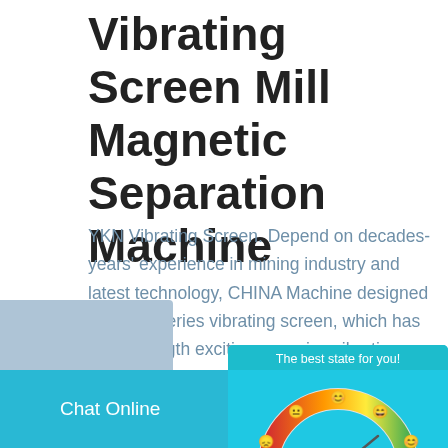Vibrating Screen Mill Magnetic Separation Machine
YKN Vibrating Screen. Depend on decades-years' experience in mining industry and latest technology, CHINA Machine designed the YKN series vibrating screen, which has high-strength exciting … series vibrating screen adopts the eccentr…
[Figure (screenshot): Chat widget popup showing a mood/satisfaction gauge meter with emoji faces, titled 'The best state for you!' with a 'Click me to chat >>' link and 'Enquiry' section below]
Get Quote
Chat Online   cywaitml@gmail.com